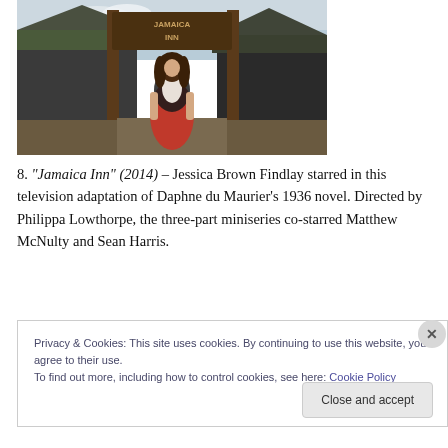[Figure (photo): A woman in a red dress with a dark shawl standing in front of a rustic wooden inn with a sign reading 'Jamaica Inn']
8. "Jamaica Inn" (2014) – Jessica Brown Findlay starred in this television adaptation of Daphne du Maurier's 1936 novel. Directed by Philippa Lowthorpe, the three-part miniseries co-starred Matthew McNulty and Sean Harris.
Privacy & Cookies: This site uses cookies. By continuing to use this website, you agree to their use.
To find out more, including how to control cookies, see here: Cookie Policy